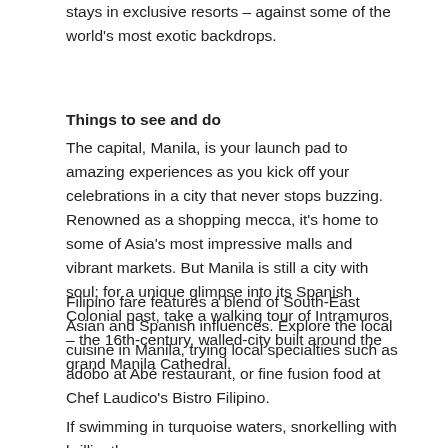stays in exclusive resorts – against some of the world's most exotic backdrops.
Things to see and do
The capital, Manila, is your launch pad to amazing experiences as you kick off your celebrations in a city that never stops buzzing. Renowned as a shopping mecca, it's home to some of Asia's most impressive malls and vibrant markets. But Manila is still a city with soul; for a unique glimpse into its Spanish Colonial past, take a walking tour of Intramuros – the 16th-century, walled-city built around the grand Manila Cathedral.
Filipino fare features a blend of South-East Asian and Spanish influences. Explore the local cuisine in Manila, trying local specialties such as adobo at Abé restaurant, or fine fusion food at Chef Laudico's Bistro Filipino.
If swimming in turquoise waters, snorkelling with brilliantly